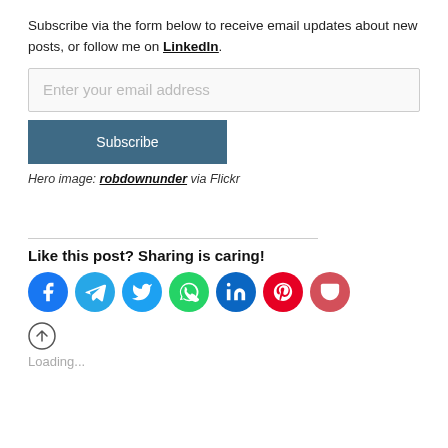Subscribe via the form below to receive email updates about new posts, or follow me on LinkedIn.
Enter your email address
Subscribe
Hero image: robdownunder via Flickr
Like this post? Sharing is caring!
[Figure (infographic): Row of seven circular social media share buttons: Facebook (blue), Telegram (blue), Twitter (light blue), WhatsApp (green), LinkedIn (dark blue), Pinterest (red), Pocket (pink-red)]
[Figure (infographic): Up arrow circle icon]
Loading...